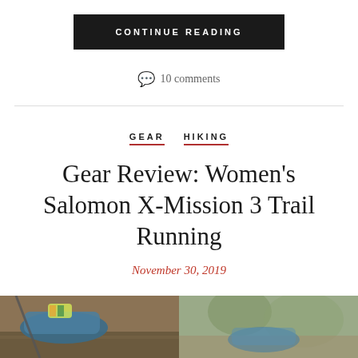CONTINUE READING
10 comments
GEAR  HIKING
Gear Review: Women's Salomon X-Mission 3 Trail Running
November 30, 2019
[Figure (photo): Two-panel photo showing trail running shoes on rocky/dirt terrain, left panel showing shoe close-up, right panel showing blurred outdoor background]